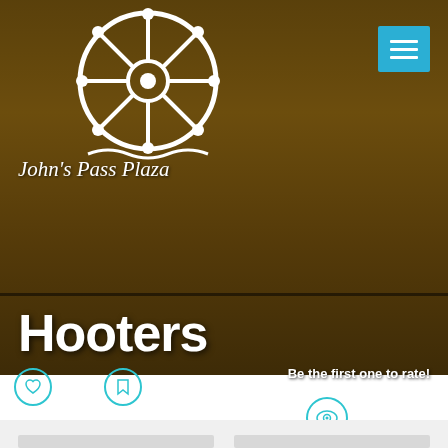[Figure (screenshot): Hero background image of John's Pass boardwalk with a dark overlay, showing wooden structures and colorful signs]
John's Pass Plaza
Hooters
1 Like
Add to favorites
Be the first one to rate!
1089 Views